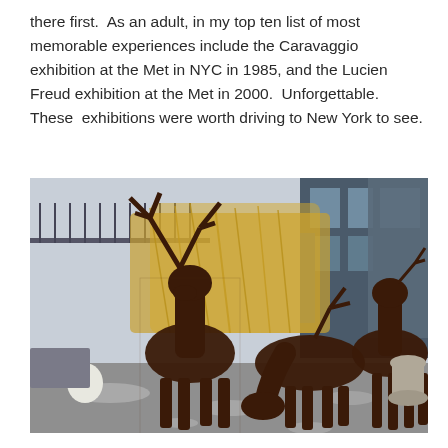there first.  As an adult, in my top ten list of most memorable experiences include the Caravaggio exhibition at the Met in NYC in 1985, and the Lucien Freud exhibition at the Met in 2000.  Unforgettable. These  exhibitions were worth driving to New York to see.
[Figure (photo): Outdoor scene showing three dark brown wicker or woven wire deer/stag sculptures in a courtyard or garden setting with light snow on the ground. The largest stag has antlers and stands tall on the left. Behind them are tall ornamental grasses (golden/tan colored), iron fencing, and a building with blue trim and windows. A white sculptural bird figure is visible on the lower left. Stone urns and garden furniture are on the right side.]